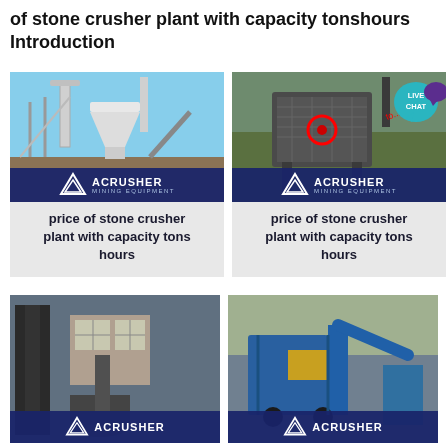of stone crusher plant with capacity tonshours
Introduction
[Figure (photo): Stone crusher plant with white industrial machinery, conveyor and pipes (ACRUSHER Mining Equipment)]
[Figure (photo): Stone crusher plant machinery with red circle marking, live chat bubble overlay (ACRUSHER Mining Equipment)]
price of stone crusher plant with capacity tons hours
price of stone crusher plant with capacity tons hours
[Figure (photo): Interior industrial stone crusher equipment (ACRUSHER Mining Equipment)]
[Figure (photo): Outdoor blue stone crusher plant equipment (ACRUSHER Mining Equipment)]